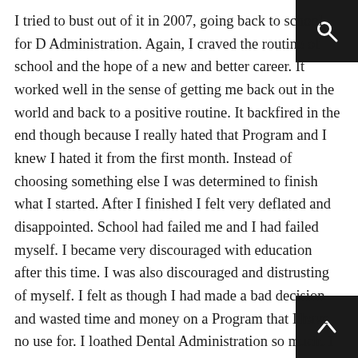I tried to bust out of it in 2007, going back to school for [Dental] Administration. Again, I craved the routine of school and the hope of a new and better career.  It worked well in the sense of getting me back out in the world and back to a positive routine.  It backfired in the end though because I really hated that Program and I knew I hated it from the first month.  Instead of choosing something else I was determined to finish what I started.  After I finished I felt very deflated and disappointed.  School had failed me and I had failed myself.  I became very discouraged with education after this time.  I was also discouraged and distrusting of myself.  I felt as though I had made a bad decision and wasted time and money on a Program that I have no use for.  I loathed Dental Administration so much.  I thought it would help me be less terrified of the Dentist.  It did not.  Now I know too much.